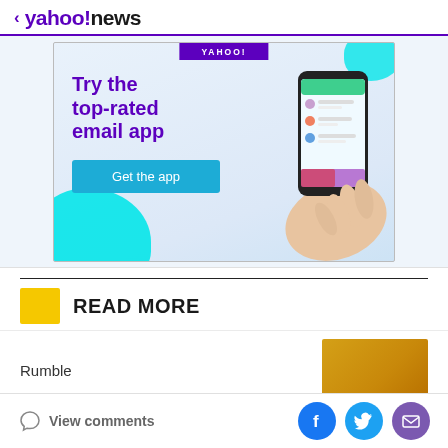< yahoo!news
[Figure (screenshot): Yahoo Mail app advertisement banner: 'Try the top-rated email app' with a Get the app button and a hand holding a smartphone]
READ MORE
Rumble
View comments | Facebook share | Twitter share | Email share